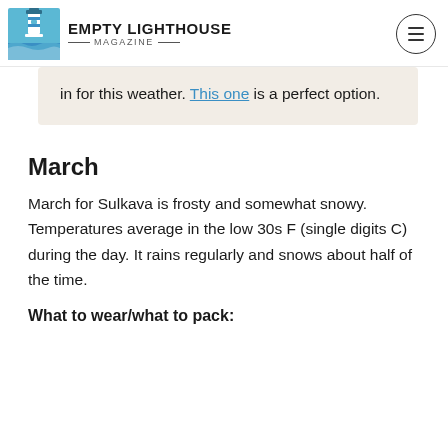EMPTY LIGHTHOUSE MAGAZINE
in for this weather. This one is a perfect option.
March
March for Sulkava is frosty and somewhat snowy. Temperatures average in the low 30s F (single digits C) during the day. It rains regularly and snows about half of the time.
What to wear/what to pack: